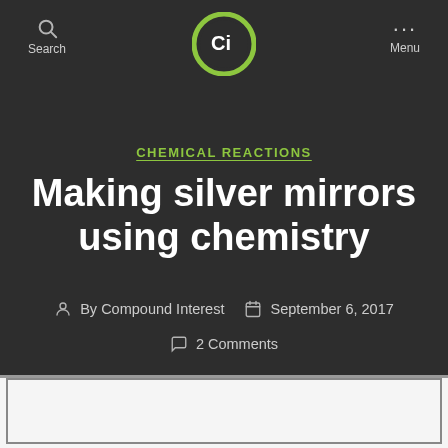Search | Ci logo | Menu
CHEMICAL REACTIONS
Making silver mirrors using chemistry
By Compound Interest   September 6, 2017
2 Comments
[Figure (infographic): Infographic preview banner showing title MAKING SILVER MIRRORS WITH CHEMISTRY and subtitle text about glass surfaces being given a coating of silver with a particular chemical reaction.]